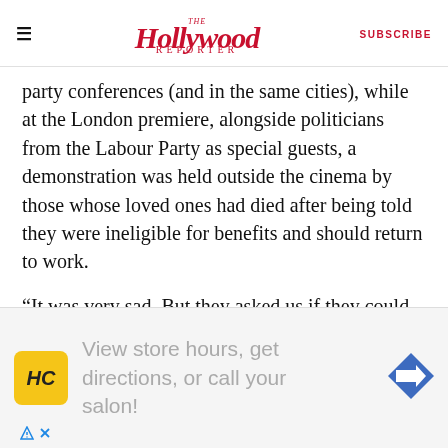The Hollywood Reporter | SUBSCRIBE
party conferences (and in the same cities), while at the London premiere, alongside politicians from the Labour Party as special guests, a demonstration was held outside the cinema by those whose loved ones had died after being told they were ineligible for benefits and should return to work.
“It was very sad. But they asked us if they could do it, and we were delighted that they did,” says O’Brien.
Elsewhere, there were stunts such as beaming the
[Figure (other): Advertisement banner: HC logo (yellow square), text 'View store hours, get directions, or call your salon!' with navigation arrow icon]